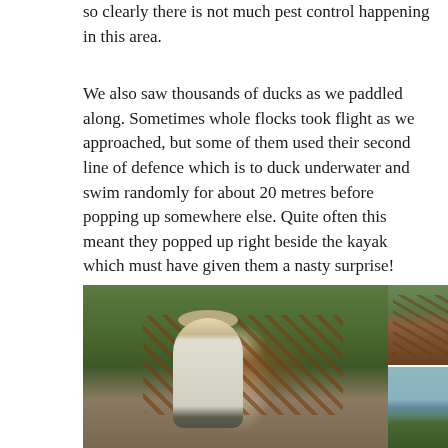so clearly there is not much pest control happening in this area.
We also saw thousands of ducks as we paddled along. Sometimes whole flocks took flight as we approached, but some of them used their second line of defence which is to duck underwater and swim randomly for about 20 metres before popping up somewhere else. Quite often this meant they popped up right beside the kayak which must have given them a nasty surprise!
[Figure (photo): Left: Person holding or examining large rusty industrial machinery/equipment in a forested area. Top right: Close-up of rusty machinery parts in vegetation. Bottom right: Water scene with trees and overcast sky.]